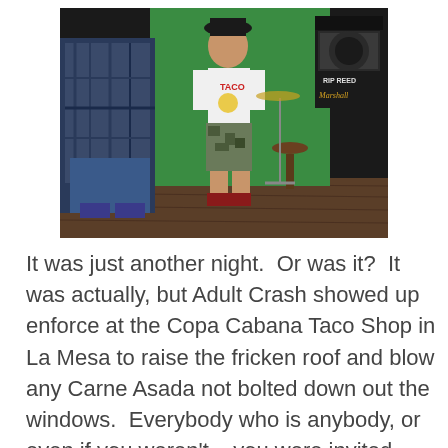[Figure (photo): A boy in a white Taco t-shirt and camo shorts stands against a green wall in what appears to be a music venue or rehearsal space. A Marshall guitar amplifier with 'RIP REED' text is visible to the right, along with a drum stool and cymbal stand. Another person in a plaid shirt and jeans is partially visible on the left.]
It was just another night.  Or was it?  It was actually, but Adult Crash showed up enforce at the Copa Cabana Taco Shop in La Mesa to raise the fricken roof and blow any Carne Asada not bolted down out the windows.  Everybody who is anybody, or even if you weren't – you were invited.    And why is a tiny taco shop in the middle of Lemon Grove